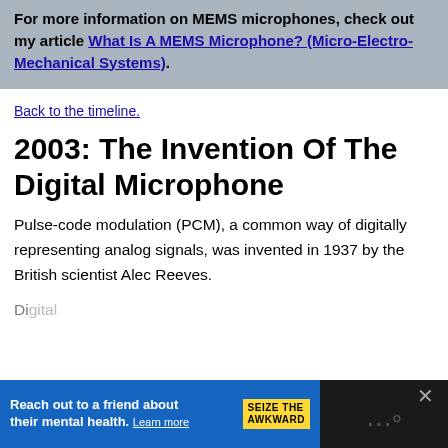For more information on MEMS microphones, check out my article What Is A MEMS Microphone? (Micro-Electro-Mechanical Systems).
Back to the timeline.
2003: The Invention Of The Digital Microphone
Pulse-code modulation (PCM), a common way of digitally representing analog signals, was invented in 1937 by the British scientist Alec Reeves.
[Figure (other): Advertisement banner: 'Reach out to a friend about their mental health. Learn more' with 'SEIZE THE AWKWARD' badge and partial page content visible behind.]